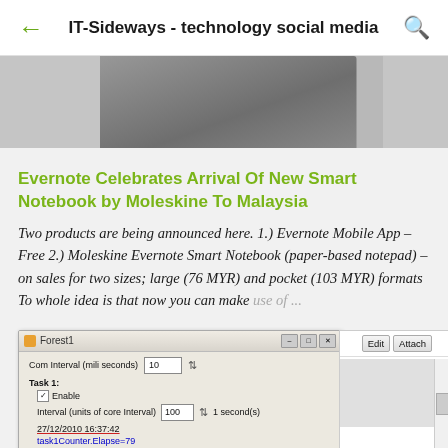IT-Sideways - technology social media
[Figure (screenshot): Partial website article image, grey/dark grey tones, appears to be a product image cropped at top]
Evernote Celebrates Arrival Of New Smart Notebook by Moleskine To Malaysia
Two products are being announced here. 1.) Evernote Mobile App – Free 2.) Moleskine Evernote Smart Notebook (paper-based notepad) – on sales for two sizes; large (76 MYR) and pocket (103 MYR) formats To whole idea is that now you can make use of ...
[Figure (screenshot): Windows application dialog titled 'Forest 1' showing Com Interval settings, Task 1 with Enable checkbox, Interval (units of core interval) set to 100, 1 second(s), date 27/12/2010 16:37:42 with red underline, task1Counter.Elapse=79, Task 2 with Enable checkbox, Interval (units of core interval) set to 200, 2 second(s). Adjacent right panel showing Edit and Attach buttons with scrollbar and BrandonTeoh link.]